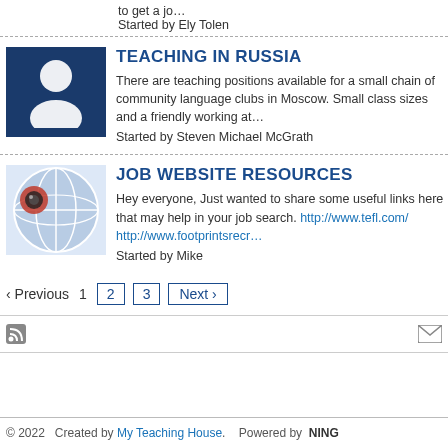to get a jo…
Started by Ely Tolen
TEACHING IN RUSSIA
There are teaching positions available for a small chain of community language clubs in Moscow. Small class sizes and a friendly working at…
Started by Steven Michael McGrath
JOB WEBSITE RESOURCES
Hey everyone, Just wanted to share some useful links here that may help in your job search. http://www.tefl.com/ http://www.footprintsrecr…
Started by Mike
‹ Previous  1  2  3  Next ›
© 2022   Created by My Teaching House.   Powered by  NING